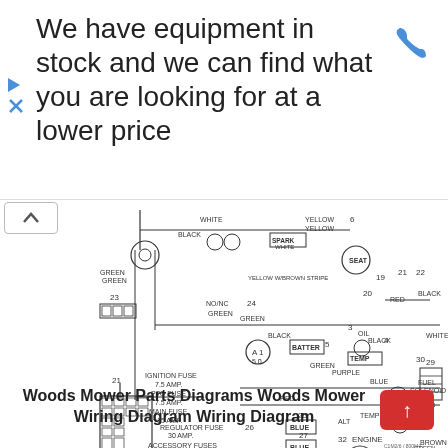We have equipment in stock and we can find what you are looking for at a lower price
[Figure (schematic): Woods Mower wiring diagram showing electrical connections for ignition, PTO, main fuse, regulator fuse, accessory fuses, start fuse, battery, alternator, starter, engine, clutch, fuel solenoid, glow plug, seat, and various numbered connectors (1-32) with color-coded wires including green, black, white, red, yellow, blue, purple, and brown.]
Woods Mower Parts Diagrams Woods Mower Wiring Diagram Wiring Diagram